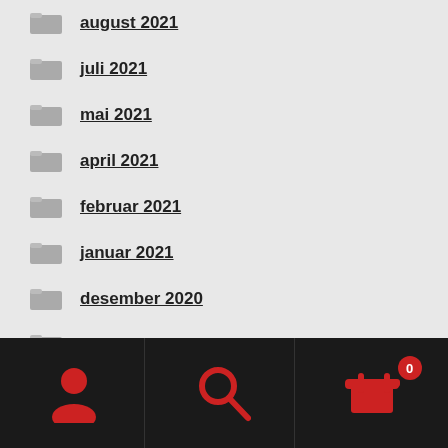august 2021
juli 2021
mai 2021
april 2021
februar 2021
januar 2021
desember 2020
september 2020
juli 2020
juni 2020
mai 2020
Navigation bar with user, search, and cart (0) icons